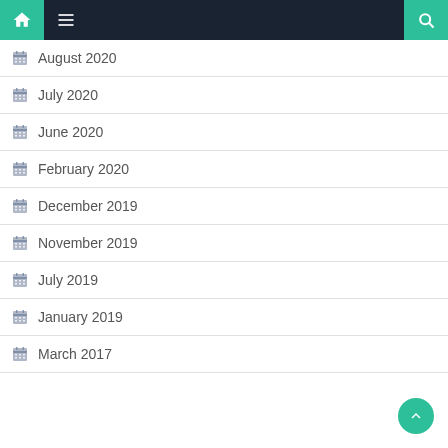Navigation bar with home, menu, and search icons
August 2020
July 2020
June 2020
February 2020
December 2019
November 2019
July 2019
January 2019
March 2017